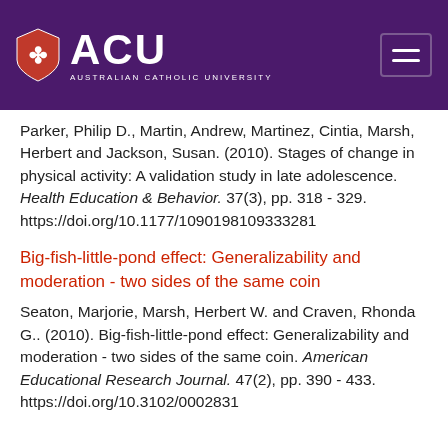[Figure (logo): Australian Catholic University (ACU) logo on purple header background with hamburger menu icon]
Parker, Philip D., Martin, Andrew, Martinez, Cintia, Marsh, Herbert and Jackson, Susan. (2010). Stages of change in physical activity: A validation study in late adolescence. Health Education & Behavior. 37(3), pp. 318 - 329. https://doi.org/10.1177/1090198109333281
Big-fish-little-pond effect: Generalizability and moderation - two sides of the same coin
Seaton, Marjorie, Marsh, Herbert W. and Craven, Rhonda G.. (2010). Big-fish-little-pond effect: Generalizability and moderation - two sides of the same coin. American Educational Research Journal. 47(2), pp. 390 - 433. https://doi.org/10.3102/0002831